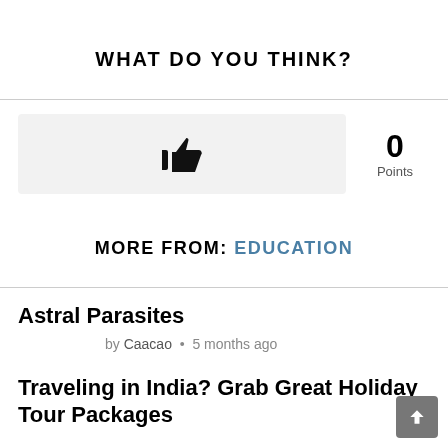WHAT DO YOU THINK?
[Figure (other): Thumbs up icon in a light grey button, indicating a voting/like button]
0 Points
MORE FROM: EDUCATION
Astral Parasites
by Caacao • 5 months ago
Traveling in India? Grab Great Holiday Tour Packages